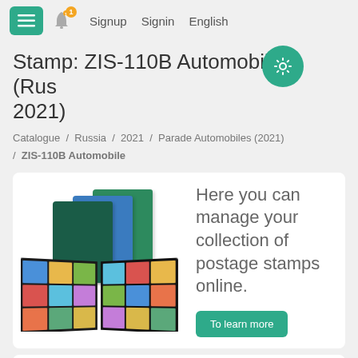Signup  Signin  English
Stamp: ZIS-110B Automobile (Russia 2021)
Catalogue / Russia / 2021 / Parade Automobiles (2021) / ZIS-110B Automobile
[Figure (screenshot): Advertisement banner showing stamp collection albums (binders) with text: Here you can manage your collection of postage stamps online. With a green 'To learn more' button.]
Here you can manage your collection of postage stamps online.